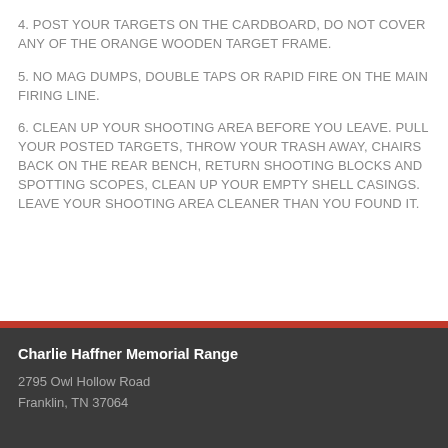4. POST YOUR TARGETS ON THE CARDBOARD,  DO NOT COVER ANY OF THE ORANGE WOODEN TARGET FRAME.
5. NO MAG DUMPS, DOUBLE TAPS OR RAPID FIRE ON THE MAIN FIRING LINE.
6. CLEAN UP YOUR SHOOTING AREA BEFORE YOU LEAVE. PULL YOUR POSTED TARGETS, THROW YOUR TRASH AWAY, CHAIRS BACK ON THE REAR BENCH, RETURN SHOOTING BLOCKS AND SPOTTING SCOPES, CLEAN UP YOUR EMPTY SHELL CASINGS. LEAVE YOUR SHOOTING AREA CLEANER THAN YOU FOUND IT.
Charlie Haffner Memorial Range
2795 Owl Hollow Road
Franklin, TN 37064